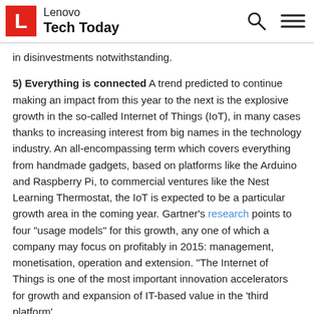Lenovo Tech Today
in disinvestments notwithstanding.
5) Everything is connected A trend predicted to continue making an impact from this year to the next is the explosive growth in the so-called Internet of Things (IoT), in many cases thanks to increasing interest from big names in the technology industry. An all-encompassing term which covers everything from handmade gadgets, based on platforms like the Arduino and Raspberry Pi, to commercial ventures like the Nest Learning Thermostat, the IoT is expected to be a particular growth area in the coming year. Gartner's research points to four "usage models" for this growth, any one of which a company may focus on profitably in 2015: management, monetisation, operation and extension. "The Internet of Things is one of the most important innovation accelerators for growth and expansion of IT-based value in the 'third platform'